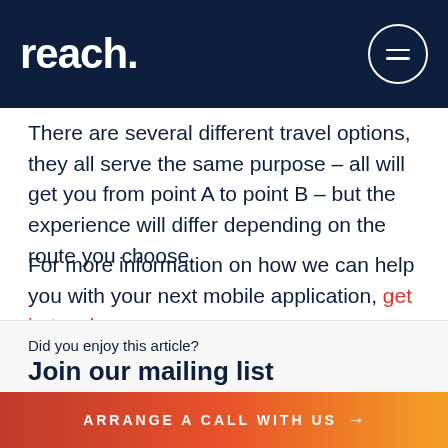reach.
There are several different travel options, they all serve the same purpose – all will get you from point A to point B – but the experience will differ depending on the route you choose.
For more information on how we can help you with your next mobile application, get in touch.
Did you enjoy this article?
Join our mailing list
email address
ARRANGE A CALL WITH US →